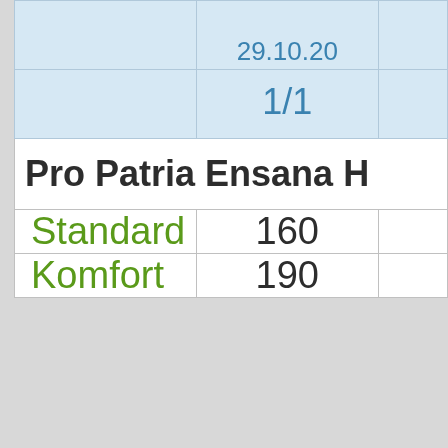|  | 29.10.20... |  |
| --- | --- | --- |
|  | 1/1 |  |
| Pro Patria Ensana H... |  |  |
| Standard | 160 |  |
| Komfort | 190 |  |